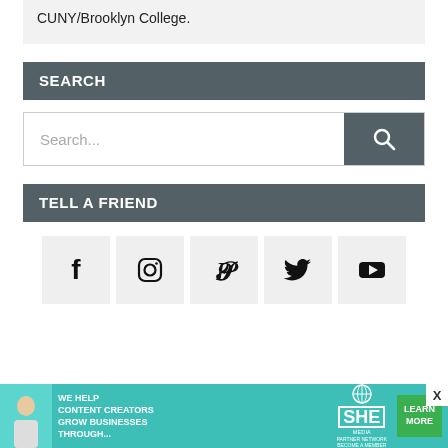CUNY/Brooklyn College.
SEARCH
[Figure (other): Search input bar with placeholder text 'Search...' and a teal search button with magnifier icon]
TELL A FRIEND
[Figure (other): Row of five social media icon buttons: Facebook, Instagram, Pinterest, Twitter, YouTube]
[Figure (other): SHE Media partner network advertisement banner with text 'We help content creators grow businesses through...' and a Learn More button]